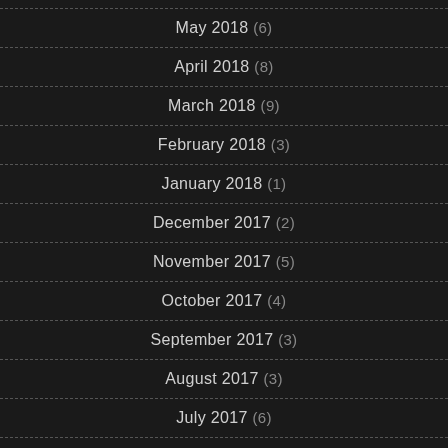May 2018 (6)
April 2018 (8)
March 2018 (9)
February 2018 (3)
January 2018 (1)
December 2017 (2)
November 2017 (5)
October 2017 (4)
September 2017 (3)
August 2017 (3)
July 2017 (6)